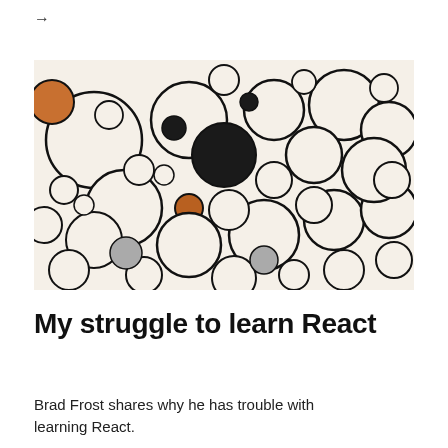→
[Figure (illustration): Abstract illustration of many overlapping circles of various sizes on a cream/off-white background, with a few circles filled in black and orange/brown, creating a complex bubble-like pattern.]
My struggle to learn React
Brad Frost shares why he has trouble with learning React.